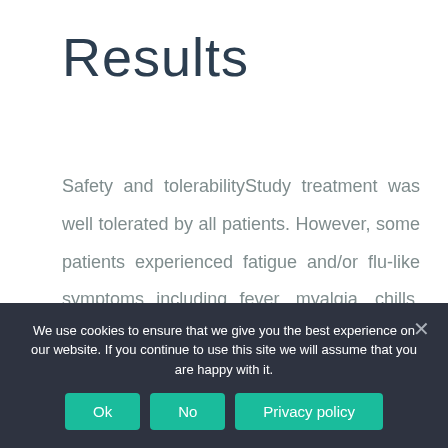Results
Safety and tolerabilityStudy treatment was well tolerated by all patients. However, some patients experienced fatigue and/or flu-like symptoms including fever, myalgia, chills, night sweats, and/or hot flashes.
We use cookies to ensure that we give you the best experience on our website. If you continue to use this site we will assume that you are happy with it.